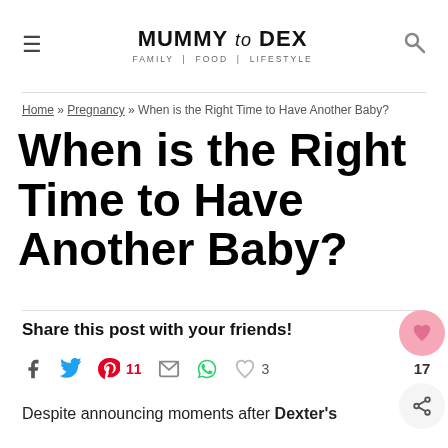MUMMY to DEX | FAMILY | FOOD | LIFESTYLE
Home » Pregnancy » When is the Right Time to Have Another Baby?
When is the Right Time to Have Another Baby?
Share this post with your friends!
f  (twitter)  P 11  (email)  (whatsapp)  ♡ 3
Despite announcing moments after Dexter's